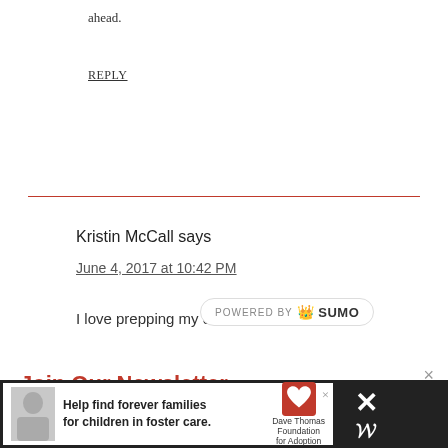ahead.
REPLY
Kristin McCall says
June 4, 2017 at 10:42 PM
I love prepping my dinner.
Join Our Newsletter
Free Delivery! Receive previews of recipes, printables, and other fun news.
Enter your email address
Help find forever families for children in foster care.